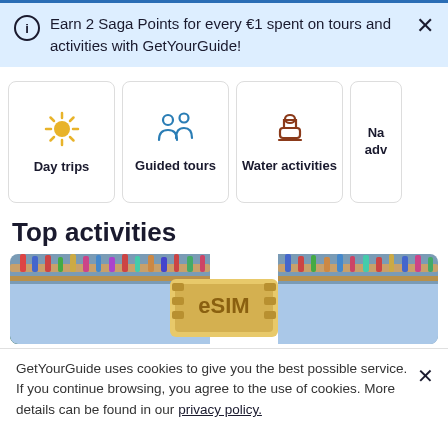Earn 2 Saga Points for every €1 spent on tours and activities with GetYourGuide!
[Figure (illustration): Category cards row showing Day trips (sun icon), Guided tours (people icon), Water activities (boat icon), and partially visible fourth card]
Top activities
[Figure (photo): Composite photo: crowded bridge with people on left and right, overlaid with an eSIM card graphic in the center]
GetYourGuide uses cookies to give you the best possible service. If you continue browsing, you agree to the use of cookies. More details can be found in our privacy policy.